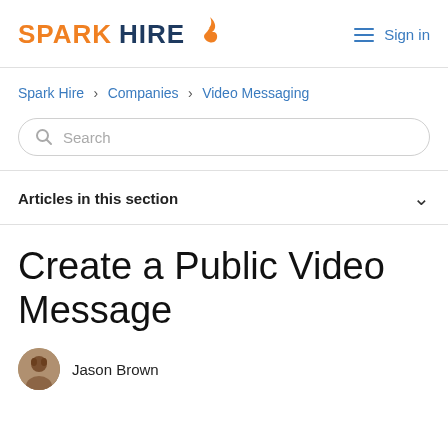SPARK HIRE 🔥  Sign in
Spark Hire > Companies > Video Messaging
Search
Articles in this section
Create a Public Video Message
Jason Brown